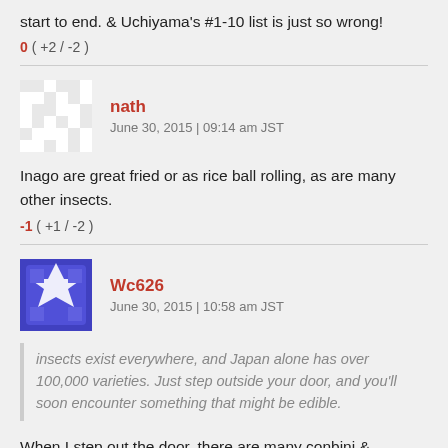start to end. & Uchiyama's #1-10 list is just so wrong!
0 ( +2 / -2 )
nath
June 30, 2015 | 09:14 am JST
Inago are great fried or as rice ball rolling, as are many other insects.
-1 ( +1 / -2 )
Wc626
June 30, 2015 | 10:58 am JST
insects exist everywhere, and Japan alone has over 100,000 varieties. Just step outside your door, and you'll soon encounter something that might be edible.
When I step out the door, there are many conbini & supermarkets too. Selling "real" food. And not something slimy or filthy-crawling in the dirt that I'd rather stomp on with the heel of my boots.